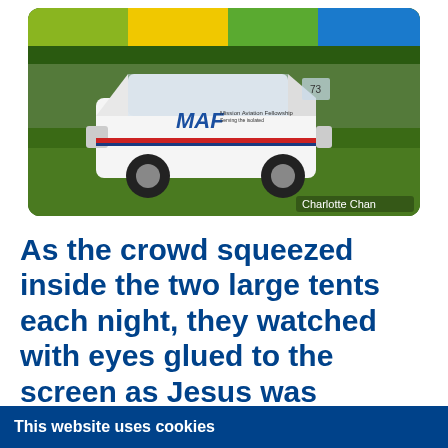[Figure (photo): A white MAF (Mission Aviation Fellowship) vehicle parked on green grass at an outdoor event with large colourful tents in the background. Photo credit: Charlotte Chan.]
As the crowd squeezed inside the two large tents each night, they watched with eyes glued to the screen as Jesus was brought to life in the Jesus Film, or
This website uses cookies